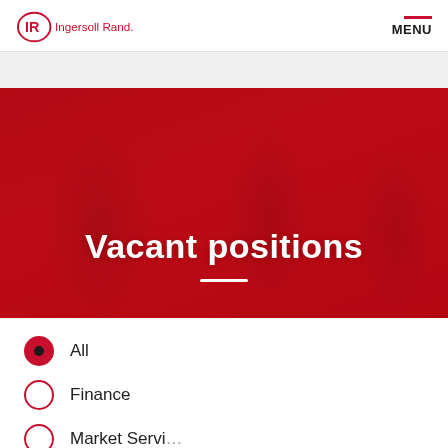[Figure (logo): Ingersoll Rand logo with IR emblem and company name in red]
MENU
[Figure (photo): Red-tinted photo of people in an office environment, overlaid with 'Vacant positions' title text and white divider line]
Vacant positions
All
Finance
Market Service